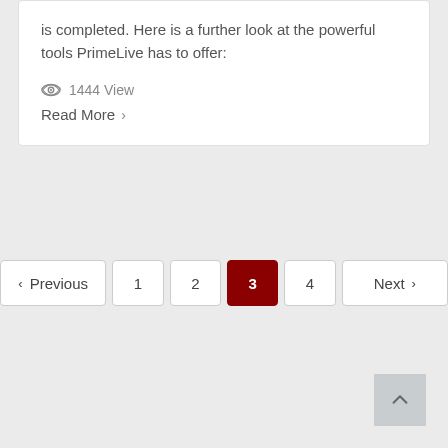is completed. Here is a further look at the powerful tools PrimeLive has to offer:
👁 1444 View
Read More >
< Previous  1  2  3  4  Next >